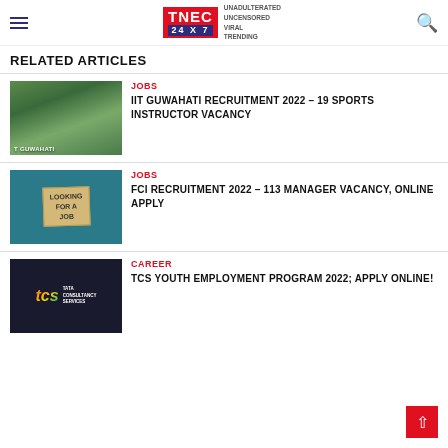TNEC 24X7 — UNADULTERATED UNCENSORED VIRAL TRENDING
RELATED ARTICLES
[Figure (photo): Aerial view of IIT Guwahati campus with green hills]
JOBS
IIT GUWAHATI RECRUITMENT 2022 – 19 SPORTS INSTRUCTOR VACANCY
[Figure (photo): Person holding a cardboard sign saying Looking For A Job]
JOBS
FCI RECRUITMENT 2022 – 113 MANAGER VACANCY, ONLINE APPLY
[Figure (logo): TCS Tata Consultancy Services logo on dark background]
CAREER
TCS YOUTH EMPLOYMENT PROGRAM 2022; APPLY ONLINE!